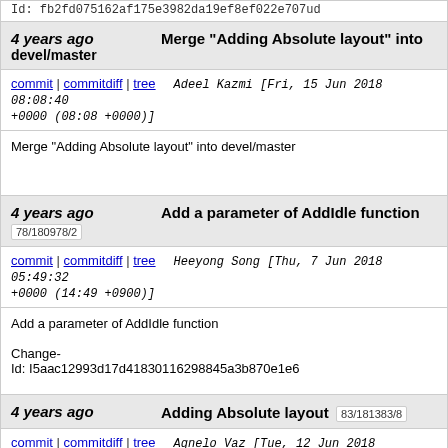Id: fb2fd075162af175e3982da19ef8ef022e707ud
4 years ago devel/master — Merge "Adding Absolute layout" into
commit | commitdiff | tree — Adeel Kazmi [Fri, 15 Jun 2018 08:08:40 +0000 (08:08 +0000)]
Merge "Adding Absolute layout" into devel/master
4 years ago 78/180978/2 — Add a parameter of AddIdle function
commit | commitdiff | tree — Heeyong Song [Thu, 7 Jun 2018 05:49:32 +0000 (14:49 +0900)]
Add a parameter of AddIdle function

Change-Id: I5aac12993d17d41830116298845a3b870e1e6
4 years ago — Adding Absolute layout 83/181383/8
commit | commitdiff | tree — Agnelo Vaz [Tue, 12 Jun 2018 16:22:41 +0000 (17:22 +0100)]
Adding Absolute layout

An layout that allows it's children to be positioned